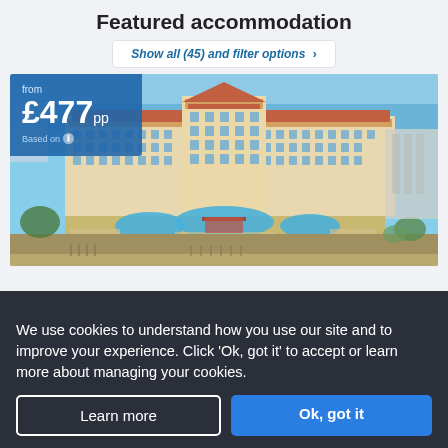Featured accommodation
Show all (45) and filter options >
[Figure (photo): Aerial view of a large resort hotel with red-tiled roofs, multiple swimming pools surrounded by sun loungers, and the sea visible in the background. A blue price badge in the top left shows 'from £477pp Based on'.]
We use cookies to understand how you use our site and to improve your experience. Click 'Ok, got it' to accept or learn more about managing your cookies.
Learn more
Ok, got it